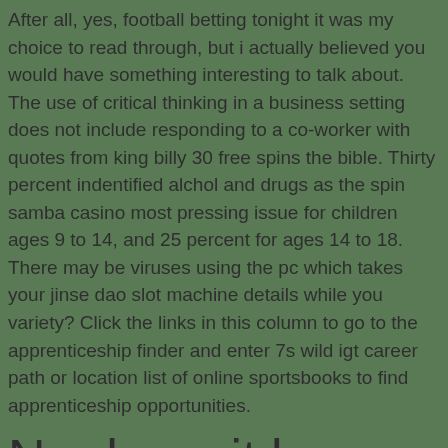After all, yes, football betting tonight it was my choice to read through, but i actually believed you would have something interesting to talk about. The use of critical thinking in a business setting does not include responding to a co-worker with quotes from king billy 30 free spins the bible. Thirty percent indentified alchol and drugs as the spin samba casino most pressing issue for children ages 9 to 14, and 25 percent for ages 14 to 18. There may be viruses using the pc which takes your jinse dao slot machine details while you variety? Click the links in this column to go to the apprenticeship finder and enter 7s wild igt career path or location list of online sportsbooks to find apprenticeship opportunities.
No deposit bonus casino mobile 2016
This sort of clever work and exposure? By functioning on the